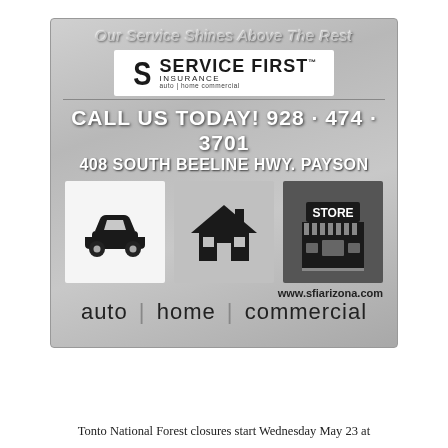[Figure (illustration): Service First Insurance advertisement. Silver metallic background with tagline 'Our Service Shines Above The Rest', company logo, contact info '928-474-3701', address '408 South Beeline Hwy. Payson', icons for auto/home/commercial, website www.sfiarizona.com, and text 'auto | home | commercial']
Tonto National Forest closures start Wednesday May 23 at